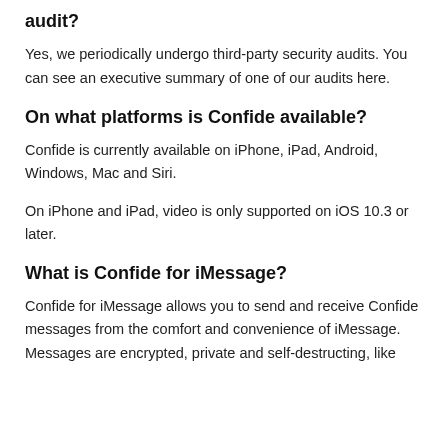audit?
Yes, we periodically undergo third-party security audits. You can see an executive summary of one of our audits here.
On what platforms is Confide available?
Confide is currently available on iPhone, iPad, Android, Windows, Mac and Siri.
On iPhone and iPad, video is only supported on iOS 10.3 or later.
What is Confide for iMessage?
Confide for iMessage allows you to send and receive Confide messages from the comfort and convenience of iMessage. Messages are encrypted, private and self-destructing, like